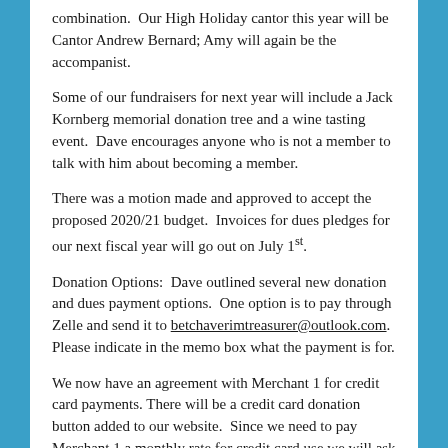combination.  Our High Holiday cantor this year will be Cantor Andrew Bernard; Amy will again be the accompanist.
Some of our fundraisers for next year will include a Jack Kornberg memorial donation tree and a wine tasting event.  Dave encourages anyone who is not a member to talk with him about becoming a member.
There was a motion made and approved to accept the proposed 2020/21 budget.  Invoices for dues pledges for our next fiscal year will go out on July 1st.
Donation Options:  Dave outlined several new donation and dues payment options.  One option is to pay through Zelle and send it to betchaverimtreasurer@outlook.com.  Please indicate in the memo box what the payment is for.
We now have an agreement with Merchant 1 for credit card payments. There will be a credit card donation button added to our website.  Since we need to pay Merchant 1 a monthly rate for credit card use we will ask people paying by credit card to put in a little extra.